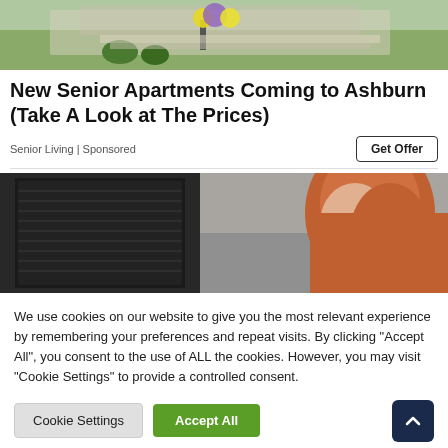[Figure (photo): Outdoor photo showing a walkway with flowers and green lawn near a building entrance]
New Senior Apartments Coming to Ashburn (Take A Look at The Prices)
Senior Living | Sponsored
[Figure (photo): Woman with red hair looking at a computer monitor in an office setting]
We use cookies on our website to give you the most relevant experience by remembering your preferences and repeat visits. By clicking "Accept All", you consent to the use of ALL the cookies. However, you may visit "Cookie Settings" to provide a controlled consent.